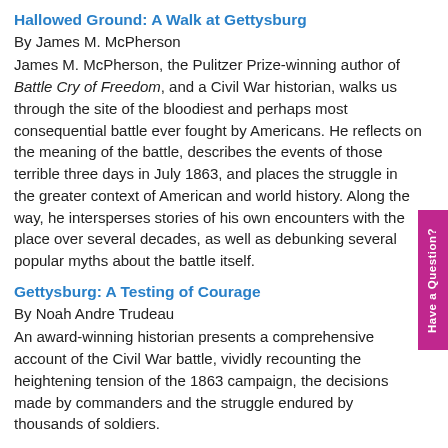Hallowed Ground: A Walk at Gettysburg
By James M. McPherson
James M. McPherson, the Pulitzer Prize-winning author of Battle Cry of Freedom, and a Civil War historian, walks us through the site of the bloodiest and perhaps most consequential battle ever fought by Americans. He reflects on the meaning of the battle, describes the events of those terrible three days in July 1863, and places the struggle in the greater context of American and world history. Along the way, he intersperses stories of his own encounters with the place over several decades, as well as debunking several popular myths about the battle itself.
Gettysburg: A Testing of Courage
By Noah Andre Trudeau
An award-winning historian presents a comprehensive account of the Civil War battle, vividly recounting the heightening tension of the 1863 campaign, the decisions made by commanders and the struggle endured by thousands of soldiers.
The Colors of Courage: Gettysburg's Forgotten History: Immigrants, Women, and African Americans in the Civil War's Defining Battle